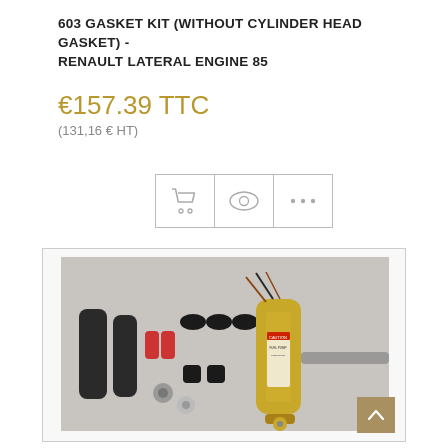603 GASKET KIT (WITHOUT CYLINDER HEAD GASKET) - RENAULT LATERAL ENGINE 85
€157.39 TTC
(131,16 € HT)
[Figure (photo): Product photo of a gasket kit including hoses, clamps, connectors, nuts, wires and a cylindrical fuel pump component laid out on a gray surface.]